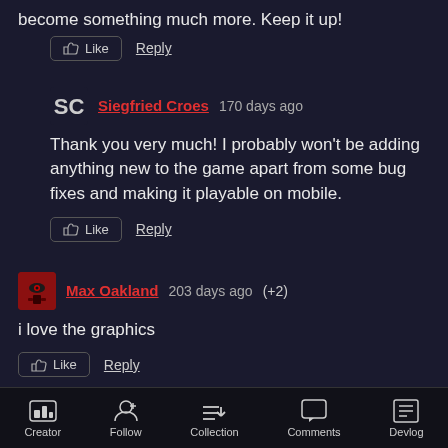become something much more. Keep it up!
👍 Like   Reply
Siegfried Croes  170 days ago
Thank you very much! I probably won't be adding anything new to the game apart from some bug fixes and making it playable on mobile.
👍 Like   Reply
Max Oakland  203 days ago  (+2)
i love the graphics
👍 Like   Reply
Siegfried Croes  203 days ago  (+2)
Thank you very much!
Creator  Follow  Collection  Comments  Devlog